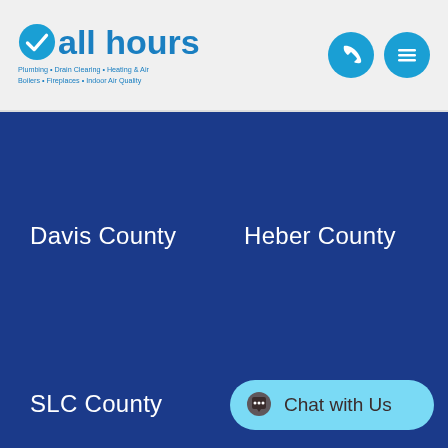all hours — Plumbing • Drain Cleaning • Heating & Air • Boilers • Fireplaces • Indoor Air Quality
Davis County
Heber County
SLC County
Summit County
Chat with Us